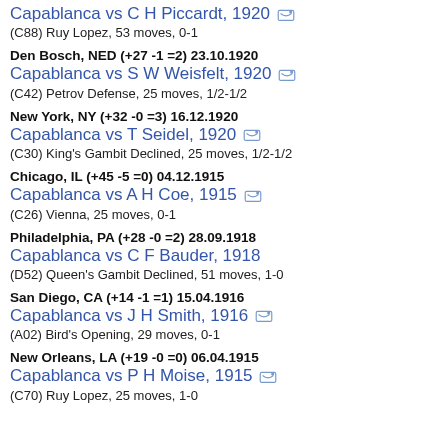Capablanca vs C H Piccardt, 1920
(C88) Ruy Lopez, 53 moves, 0-1
Den Bosch, NED (+27 -1 =2) 23.10.1920
Capablanca vs S W Weisfelt, 1920
(C42) Petrov Defense, 25 moves, 1/2-1/2
New York, NY (+32 -0 =3) 16.12.1920
Capablanca vs T Seidel, 1920
(C30) King's Gambit Declined, 25 moves, 1/2-1/2
Chicago, IL (+45 -5 =0) 04.12.1915
Capablanca vs A H Coe, 1915
(C26) Vienna, 25 moves, 0-1
Philadelphia, PA (+28 -0 =2) 28.09.1918
Capablanca vs C F Bauder, 1918
(D52) Queen's Gambit Declined, 51 moves, 1-0
San Diego, CA (+14 -1 =1) 15.04.1916
Capablanca vs J H Smith, 1916
(A02) Bird's Opening, 29 moves, 0-1
New Orleans, LA (+19 -0 =0) 06.04.1915
Capablanca vs P H Moise, 1915
(C70) Ruy Lopez, 25 moves, 1-0